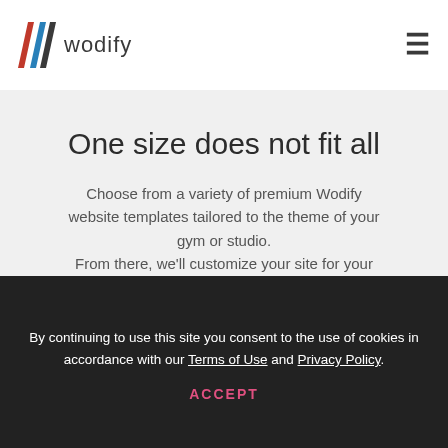[Figure (logo): Wodify logo: stylized W made of red, blue, and dark grey diagonal stripes, followed by the text 'wodify' in dark grey]
One size does not fit all
Choose from a variety of premium Wodify website templates tailored to the theme of your gym or studio.
From there, we'll customize your site for your
By continuing to use this site you consent to the use of cookies in accordance with our Terms of Use and Privacy Policy.
ACCEPT